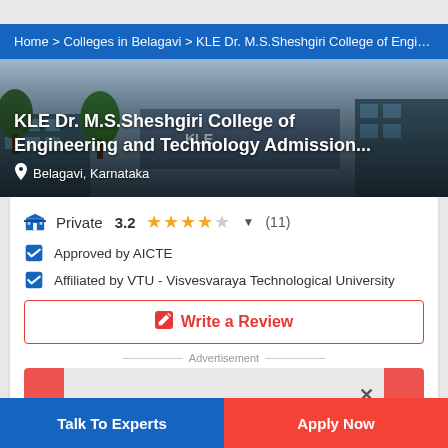Home > Colleges in Belagavi > KLE Dr. M.S.Sheshgiri College of Enginee
[Figure (photo): KLE Dr. M.S.Sheshgiri College of Engineering and Technology campus building photo with overlay text]
KLE Dr. M.S.Sheshgiri College of Engineering and Technology Admission...
Belagavi, Karnataka
Private  3.2  ★★★★☆  ▼  (11)
Approved by AICTE
Affiliated by VTU - Visvesvaraya Technological University
Write a Review
Advertisement
Talk To Experts
Apply Now